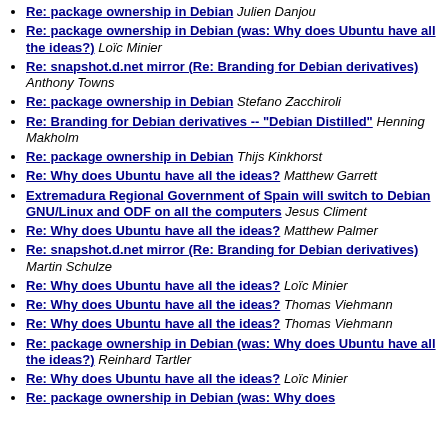Re: package ownership in Debian Julien Danjou
Re: package ownership in Debian (was: Why does Ubuntu have all the ideas?) Loïc Minier
Re: snapshot.d.net mirror (Re: Branding for Debian derivatives) Anthony Towns
Re: package ownership in Debian Stefano Zacchiroli
Re: Branding for Debian derivatives -- "Debian Distilled" Henning Makholm
Re: package ownership in Debian Thijs Kinkhorst
Re: Why does Ubuntu have all the ideas? Matthew Garrett
Extremadura Regional Government of Spain will switch to Debian GNU/Linux and ODF on all the computers Jesus Climent
Re: Why does Ubuntu have all the ideas? Matthew Palmer
Re: snapshot.d.net mirror (Re: Branding for Debian derivatives) Martin Schulze
Re: Why does Ubuntu have all the ideas? Loïc Minier
Re: Why does Ubuntu have all the ideas? Thomas Viehmann
Re: Why does Ubuntu have all the ideas? Thomas Viehmann
Re: package ownership in Debian (was: Why does Ubuntu have all the ideas?) Reinhard Tartler
Re: Why does Ubuntu have all the ideas? Loïc Minier
Re: package ownership in Debian (was: Why does